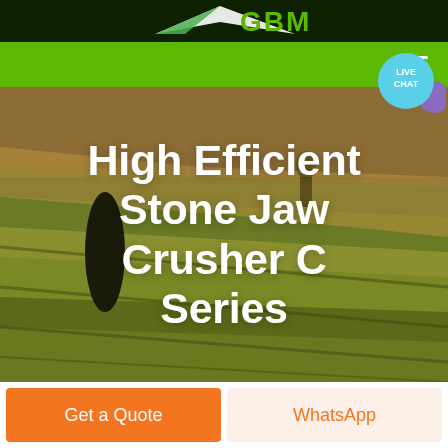[Figure (logo): GBM logo with green and white arrow/wing graphic on dark green background, text reads GBM in green]
Navigation bar with hamburger menu icon on green background
[Figure (illustration): Live chat bubble icon — teal circle with LIVE CHAT text and purple chat bubble tail]
High Efficient Stone Jaw Crusher C Series
[Figure (photo): Aerial/landscape photograph of agricultural fields with rolling hills in warm golden-green tones, with a dark cypress tree on the left]
Get a Quote
WhatsApp